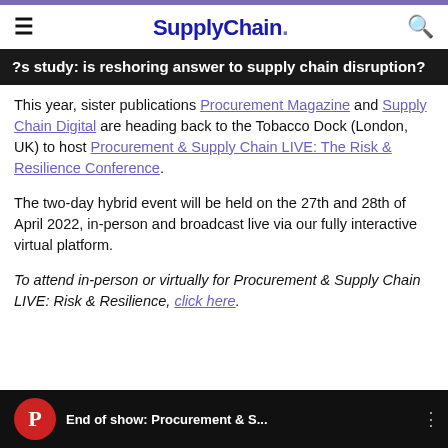SupplyChain.
?s study: is reshoring answer to supply chain disruption?
This year, sister publications Procurement Magazine and Supply Chain Digital are heading back to the Tobacco Dock (London, UK) to host Procurement & Supply Chain LIVE: The Risk & Resilience Conference.
The two-day hybrid event will be held on the 27th and 28th of April 2022, in-person and broadcast live via our fully interactive virtual platform.
To attend in-person or virtually for Procurement & Supply Chain LIVE: Risk & Resilience, click here.
[Figure (screenshot): Video thumbnail showing a red circular logo with 'P' and text 'End of show: Procurement & S...' on a dark background]